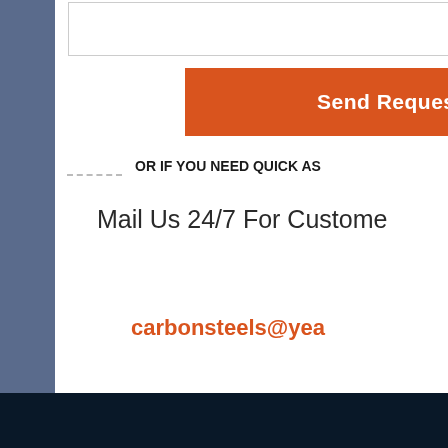[Figure (screenshot): Website contact form section with Send Request button, partial customer support overlay showing 24/7 hour badge, customer service representative photo, phone and Skype icon buttons, Click to chat button, and partial email address carbonsteels@yea...]
Send Request
OR IF YOU NEED QUICK AS
Mail Us 24/7 For Custome
carbonsteels@yea
24/7 hour
Click to chat